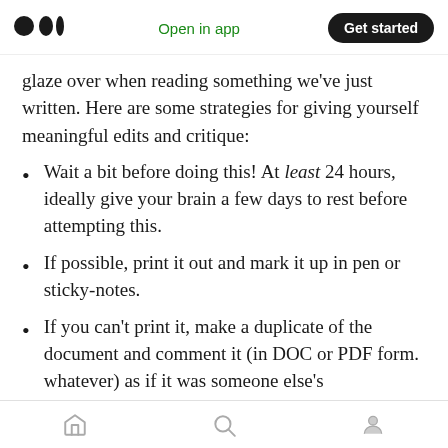Medium logo | Open in app | Get started
glaze over when reading something we've just written. Here are some strategies for giving yourself meaningful edits and critique:
Wait a bit before doing this! At least 24 hours, ideally give your brain a few days to rest before attempting this.
If possible, print it out and mark it up in pen or sticky-notes.
If you can't print it, make a duplicate of the document and comment it (in DOC or PDF form. whatever) as if it was someone else's
Home | Search | Profile